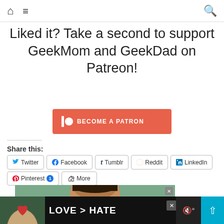Home | Menu | Search
Liked it? Take a second to support GeekMom and GeekDad on Patreon!
[Figure (other): Patreon 'Become a Patron' orange button with Patreon logo icon]
Share this:
Twitter
Facebook
Tumblr
Reddit
LinkedIn
Pinterest 1
More
[Figure (photo): Advertisement showing a child's face with greenery background]
[Figure (photo): Bottom banner advertisement: hands making a heart shape with text 'LOVE > HATE']